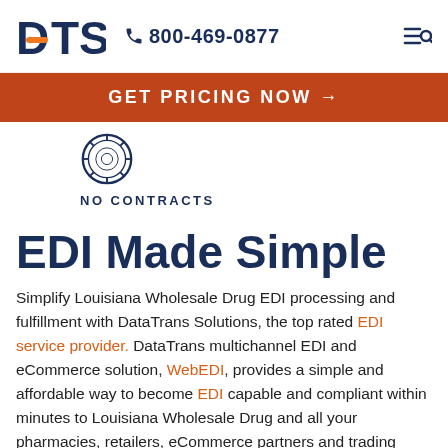DTS  800-469-0877
GET PRICING NOW →
[Figure (logo): Circular emblem/seal icon above NO CONTRACTS text]
NO CONTRACTS
EDI Made Simple
Simplify Louisiana Wholesale Drug EDI processing and fulfillment with DataTrans Solutions, the top rated EDI service provider. DataTrans multichannel EDI and eCommerce solution, WebEDI, provides a simple and affordable way to become EDI capable and compliant within minutes to Louisiana Wholesale Drug and all your pharmacies, retailers, eCommerce partners and trading partners. Streamline the procurement process with